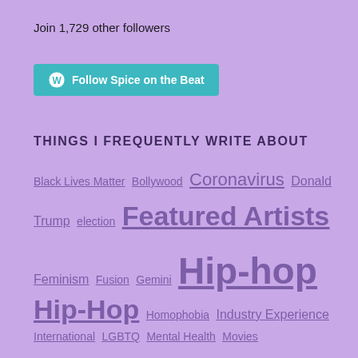Join 1,729 other followers
[Figure (other): Follow Spice on the Beat button with WordPress logo]
THINGS I FREQUENTLY WRITE ABOUT
Black Lives Matter
Bollywood
Coronavirus
Donald Trump
election
Featured Artists
Feminism
Fusion
Gemini
Hip-hop
Hip-Hop
Homophobia
Industry Experience
International
LGBTQ
Mental Health
Movies
Music